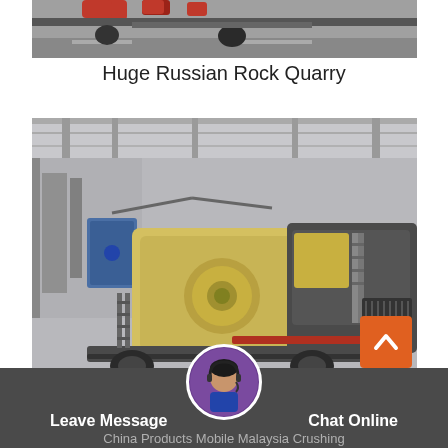[Figure (photo): Top portion of a Russian rock quarry photo showing heavy machinery or transport equipment, partially cropped]
Huge Russian Rock Quarry
[Figure (photo): Large mobile crushing plant/machine inside an industrial warehouse or factory, with yellow and grey components, mounted on a heavy vehicle chassis]
[Figure (photo): Customer support avatar - woman with headset, circular portrait photo]
Leave Message
Chat Online
China Products Mobile Malaysia Crushing